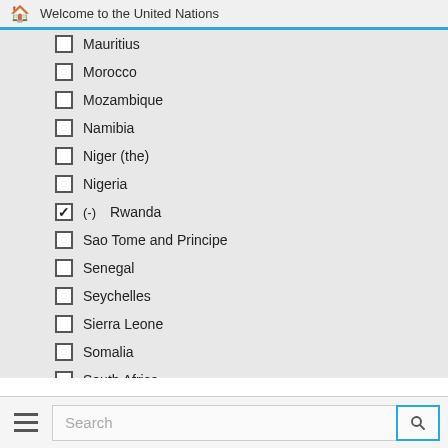Welcome to the United Nations
Mauritius
Morocco
Mozambique
Namibia
Niger (the)
Nigeria
(-) Rwanda [checked]
Sao Tome and Principe
Senegal
Seychelles
Sierra Leone
Somalia
South Africa
South Sudan
Sudan (the)
(-) Swaziland [checked]
Togo
Search